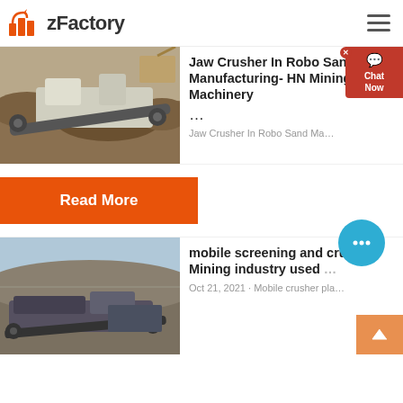zFactory
[Figure (photo): Mining jaw crusher machine on rocky terrain outdoor site]
Jaw Crusher In Robo Sand Manufacturing- HN Mining Machinery ...
...
Jaw Crusher In Robo Sand Ma...
Read More
[Figure (photo): Mobile screening and crushing equipment at mining site]
mobile screening and crush - Mining industry used ...
Oct 21, 2021 · Mobile crusher pla...